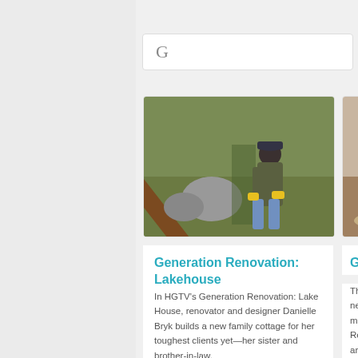G
[Figure (photo): Woman in blue cap and yellow gloves working outdoors near wooden beams and rocky landscape]
Generation Renovation: Lakehouse
In HGTV’s Generation Renovation: Lake House, renovator and designer Danielle Bryk builds a new family cottage for her toughest clients yet—her sister and brother-in-law.
[Figure (photo): Person relaxing on floor near a lamp and rolled rug in a home setting]
Going for S
The worst home neighborhoods o makeovers in H Sold.” Real esta Tjon-Joe-Pin ar forgotten homes affordable prope young families l look without the